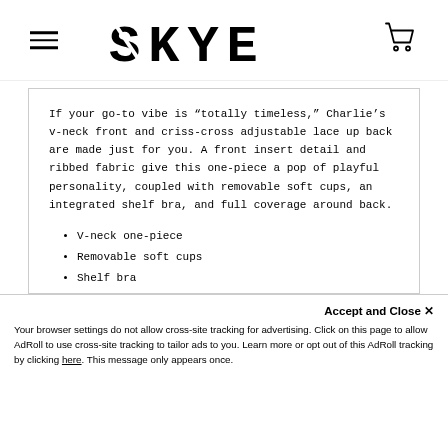SKYE
If your go-to vibe is “totally timeless,” Charlie’s v-neck front and criss-cross adjustable lace up back are made just for you. A front insert detail and ribbed fabric give this one-piece a pop of playful personality, coupled with removable soft cups, an integrated shelf bra, and full coverage around back.
V-neck one-piece
Removable soft cups
Shelf bra
Front insert detail
Criss cross adjustable lace up back
Ribbed fabric
Full coverage
Accept and Close × Your browser settings do not allow cross-site tracking for advertising. Click on this page to allow AdRoll to use cross-site tracking to tailor ads to you. Learn more or opt out of this AdRoll tracking by clicking here. This message only appears once.